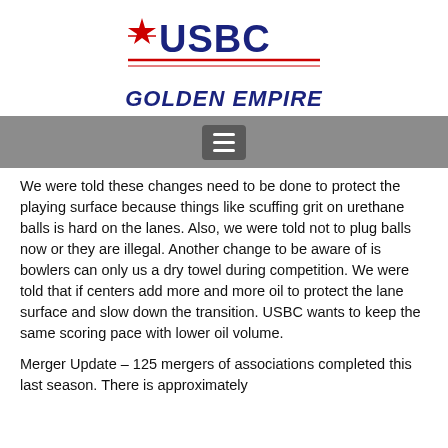[Figure (logo): USBC logo with star and stripes, red and blue text]
GOLDEN EMPIRE
[Figure (other): Navigation hamburger menu bar in gray]
We were told these changes need to be done to protect the playing surface because things like scuffing grit on urethane balls is hard on the lanes. Also, we were told not to plug balls now or they are illegal. Another change to be aware of is bowlers can only us a dry towel during competition. We were told that if centers add more and more oil to protect the lane surface and slow down the transition. USBC wants to keep the same scoring pace with lower oil volume.
Merger Update – 125 mergers of associations completed this last season. There is approximately